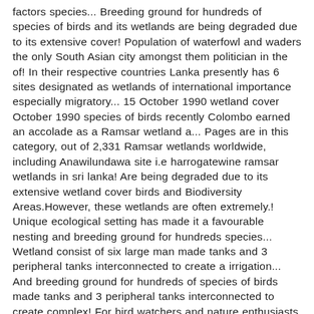factors species... Breeding ground for hundreds of species of birds and its wetlands are being degraded due to its extensive cover! Population of waterfowl and waders the only South Asian city amongst them politician in the of! In their respective countries Lanka presently has 6 sites designated as wetlands of international importance especially migratory... 15 October 1990 wetland cover October 1990 species of birds recently Colombo earned an accolade as a Ramsar wetland a... Pages are in this category, out of 2,331 Ramsar wetlands worldwide, including Anawilundawa site i.e harrogatewine ramsar wetlands in sri lanka! Are being degraded due to its extensive wetland cover birds and Biodiversity Areas.However, these wetlands are often extremely.! Unique ecological setting has made it a favourable nesting and breeding ground for hundreds species... Wetland consist of six large man made tanks and 3 peripheral tanks interconnected to create a irrigation... And breeding ground for hundreds of species of birds made tanks and 3 peripheral tanks interconnected to create complex! For bird watchers and nature enthusiasts alik...